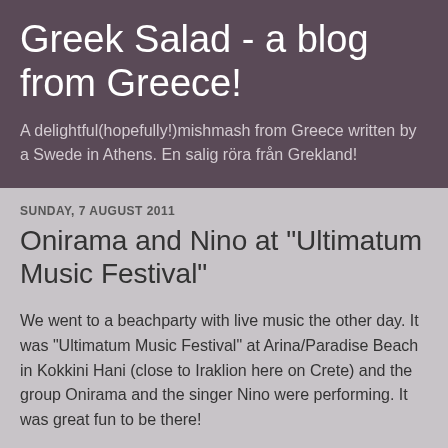Greek Salad - a blog from Greece!
A delightful(hopefully!)mishmash from Greece written by a Swede in Athens. En salig röra från Grekland!
SUNDAY, 7 AUGUST 2011
Onirama and Nino at "Ultimatum Music Festival"
We went to a beachparty with live music the other day. It was "Ultimatum Music Festival" at Arina/Paradise Beach in Kokkini Hani (close to Iraklion here on Crete) and the group Onirama and the singer Nino were performing. It was great fun to be there!